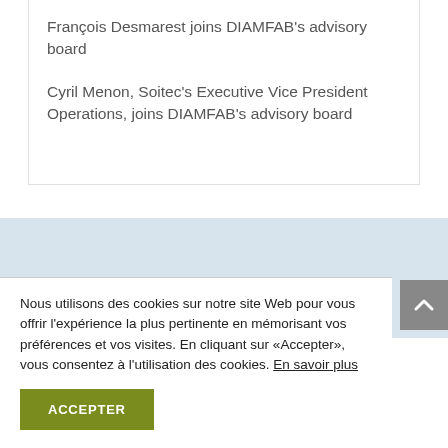François Desmarest joins DIAMFAB's advisory board
Cyril Menon, Soitec's Executive Vice President Operations, joins DIAMFAB's advisory board
[Figure (logo): Partial DIAMFAB logo on light blue background, hexagonal shape in blue and green colors, partially visible]
Nous utilisons des cookies sur notre site Web pour vous offrir l'expérience la plus pertinente en mémorisant vos préférences et vos visites. En cliquant sur «Accepter», vous consentez à l'utilisation des cookies. En savoir plus
ACCEPTER